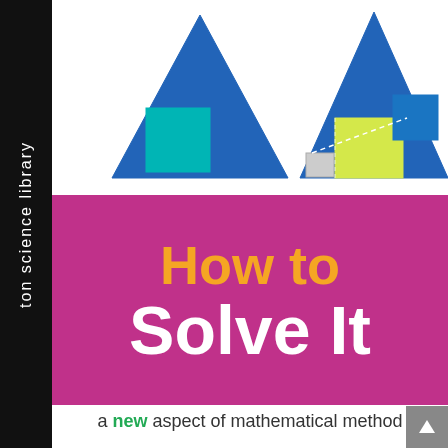[Figure (illustration): Book cover of 'How to Solve It' from Princeton Science Library. Left side has a black vertical spine with 'ton science library' text rotated vertically in white. Main area shows two blue triangles with colored squares inside (Pythagorean theorem illustration) at top, a magenta/purple band with 'How to' in orange and 'Solve It' in white large text, and subtitle 'a new aspect of mathematical method' below. Bottom right has a grey scroll-to-top button.]